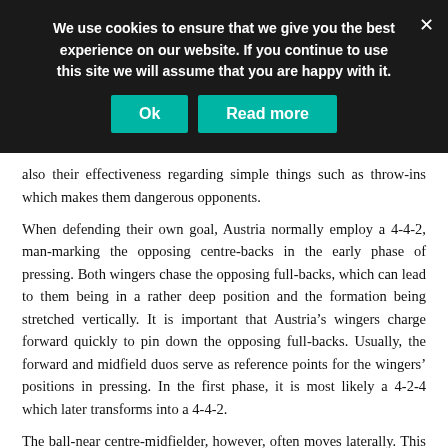We use cookies to ensure that we give you the best experience on our website. If you continue to use this site we will assume that you are happy with it.
Ok | Read more
also their effectiveness regarding simple things such as throw-ins which makes them dangerous opponents.
When defending their own goal, Austria normally employ a 4-4-2, man-marking the opposing centre-backs in the early phase of pressing. Both wingers chase the opposing full-backs, which can lead to them being in a rather deep position and the formation being stretched vertically. It is important that Austria’s wingers charge forward quickly to pin down the opposing full-backs. Usually, the forward and midfield duos serve as reference points for the wingers’ positions in pressing. In the first phase, it is most likely a 4-2-4 which later transforms into a 4-4-2.
The ball-near centre-midfielder, however, often moves laterally. This creates a diagonal blocking line, with the other centre-midfielder being alone in the middle. Alaba is really good at guiding the opposing attacks towards the outside when he has